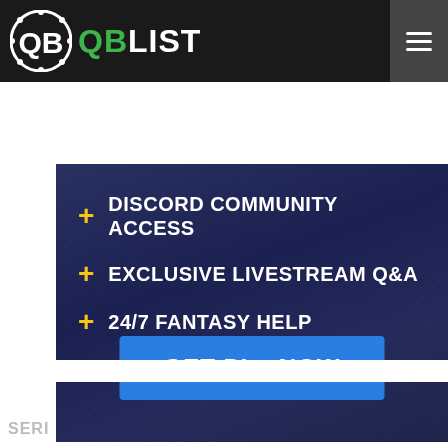QB LIST
+ DISCORD COMMUNITY ACCESS
+ EXCLUSIVE LIVESTREAM Q&A
+ 24/7 FANTASY HELP
GET PL+ NOW
[Figure (screenshot): Ad banner for BitLife - Life Simulator app with cartoon character, red icon, and Install button]
SERI